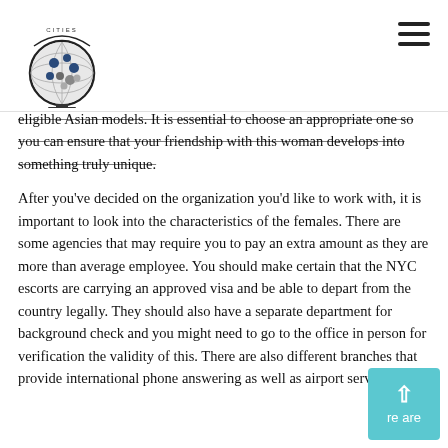[Figure (logo): Globe logo with dots and 'CITIES' text around it, black stand at bottom]
eligible Asian models. It is essential to choose an appropriate one so you can ensure that your friendship with this woman develops into something truly unique.
After you've decided on the organization you'd like to work with, it is important to look into the characteristics of the females. There are some agencies that may require you to pay an extra amount as they are more than average employee. You should make certain that the NYC escorts are carrying an approved visa and be able to depart from the country legally. They should also have a separate department for background check and you might need to go to the office in person for verification the validity of this. There are also different branches that provide international phone answering as well as airport service.